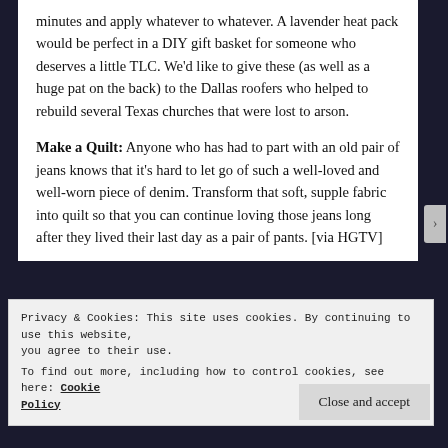minutes and apply whatever to whatever. A lavender heat pack would be perfect in a DIY gift basket for someone who deserves a little TLC. We'd like to give these (as well as a huge pat on the back) to the Dallas roofers who helped to rebuild several Texas churches that were lost to arson.
Make a Quilt: Anyone who has had to part with an old pair of jeans knows that it's hard to let go of such a well-loved and well-worn piece of denim. Transform that soft, supple fabric into quilt so that you can continue loving those jeans long after they lived their last day as a pair of pants. [via HGTV]
Privacy & Cookies: This site uses cookies. By continuing to use this website, you agree to their use.
To find out more, including how to control cookies, see here: Cookie Policy
Close and accept